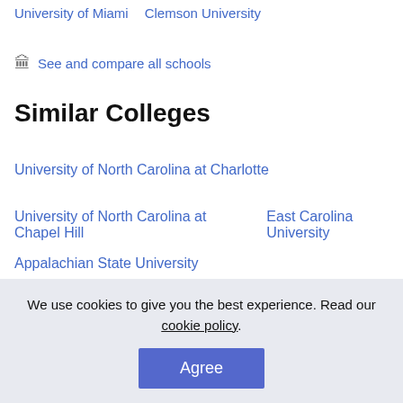University of Miami    Clemson University
See and compare all schools
Similar Colleges
University of North Carolina at Charlotte
University of North Carolina at Chapel Hill    East Carolina University
Appalachian State University
We use cookies to give you the best experience. Read our cookie policy.